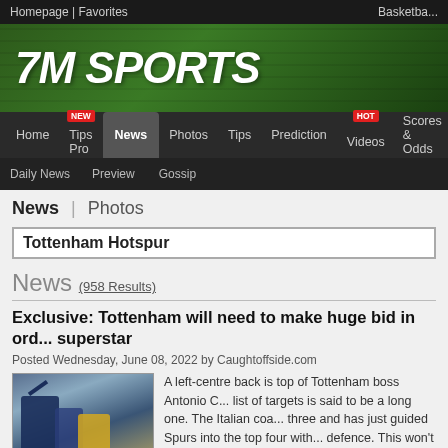Homepage | Favorites | Basketball
7M SPORTS
Home | Tips Pro | News | Photos | Tips | Prediction | Videos | Scores & Odds
Daily News | Preview | Gossip
News | Photos
Tottenham Hotspur
News (958 Results)
Exclusive: Tottenham will need to make huge bid in order to sign superstar
Posted Wednesday, June 08, 2022 by Caughtoffside.com
A left-centre back is top of Tottenham boss Antonio C... list of targets is said to be a long one. The Italian coa... three and has just guided Spurs into the top four with... defence. This won't do next season as the North Lon... c... Full Story »